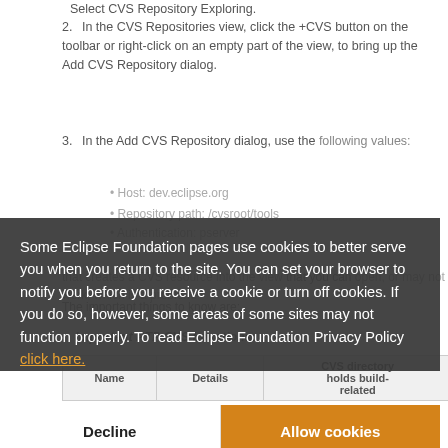Select CVS Repository Exploring.
2. In the CVS Repositories view, click the +CVS button on the toolbar or right-click on an empty part of the view, to bring up the Add CVS Repository dialog.
3. In the Add CVS Repository dialog, use the following values:
Host: dev.eclipse.org
Repository path: /cvsroot/tools
Authentication: pserver
that creates a CVS resource into the view that you can open, or may not work, which is a problem. The important things to know are:
Important PTP CVS Locations:
| Name | Details | CVS directory holds build-related |
| --- | --- | --- |
Some Eclipse Foundation pages use cookies to better serve you when you return to the site. You can set your browser to notify you before you receive a cookie or turn off cookies. If you do so, however, some areas of some sites may not function properly. To read Eclipse Foundation Privacy Policy click here.